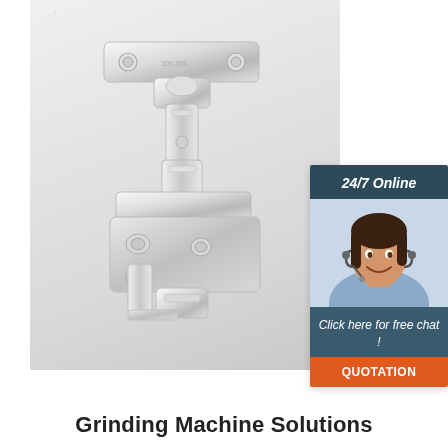[Figure (photo): Product photo of a stainless steel cabinet hinge with mounting plate, pivot arm, and base bracket, shown against a light gray gradient background with a decorative pin/dot in the upper left area.]
[Figure (infographic): Chat widget showing '24/7 Online' header in dark teal, a smiling female customer service agent wearing a headset, text 'Click here for free chat !', and an orange button labeled 'QUOTATION'.]
Grinding Machine Solutions